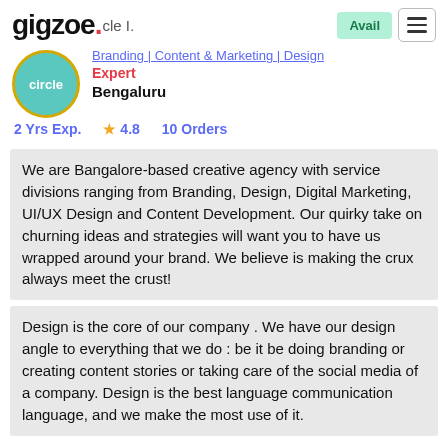gigzoe. cle I. Avail ☰
[Figure (logo): Gigzoe logo with circle avatar badge]
Branding | Content & Marketing | Design
Expert
Bengaluru
2 Yrs Exp.  ★ 4.8  10 Orders
We are Bangalore-based creative agency with service divisions ranging from Branding, Design, Digital Marketing, UI/UX Design and Content Development. Our quirky take on churning ideas and strategies will want you to have us wrapped around your brand. We believe is making the crux always meet the crust!
Design is the core of our company . We have our design angle to everything that we do : be it be doing branding or creating content stories or taking care of the social media of a company. Design is the best language communication language, and we make the most use of it.